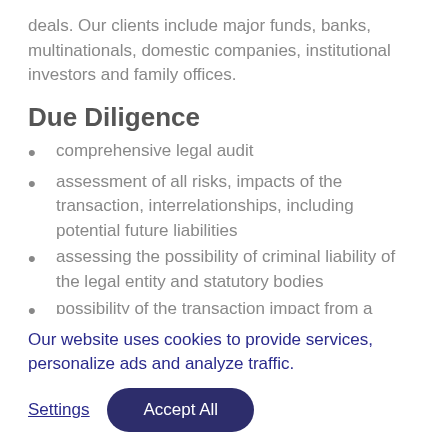deals. Our clients include major funds, banks, multinationals, domestic companies, institutional investors and family offices.
Due Diligence
comprehensive legal audit
assessment of all risks, impacts of the transaction, interrelationships, including potential future liabilities
assessing the possibility of criminal liability of the legal entity and statutory bodies
possibility of the transaction impact from a competition perspective
transactions tax impact
internal corporate environment analyses, including
Our website uses cookies to provide services, personalize ads and analyze traffic.
Settings | Accept All